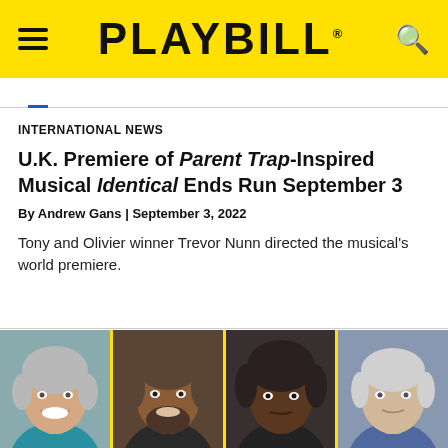PLAYBILL
INTERNATIONAL NEWS
U.K. Premiere of Parent Trap-Inspired Musical Identical Ends Run September 3
By Andrew Gans | September 3, 2022
Tony and Olivier winner Trevor Nunn directed the musical's world premiere.
[Figure (photo): Four headshot portraits side by side of cast/crew members, separated by yellow vertical lines]